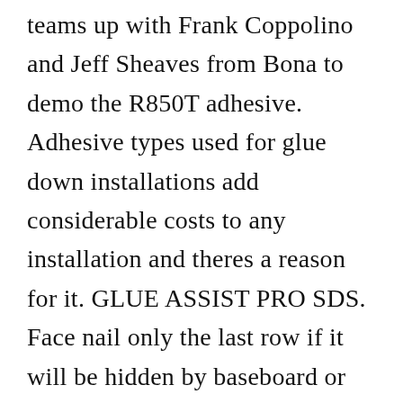teams up with Frank Coppolino and Jeff Sheaves from Bona to demo the R850T adhesive. Adhesive types used for glue down installations add considerable costs to any installation and theres a reason for it. GLUE ASSIST PRO SDS. Face nail only the last row if it will be hidden by baseboard or quarter round gluing the last rows together at the tongue and groove will keep them connected enabling them to move with the rest of the floor through seasonal changes. Mon Feb 08 2021 851 pm.